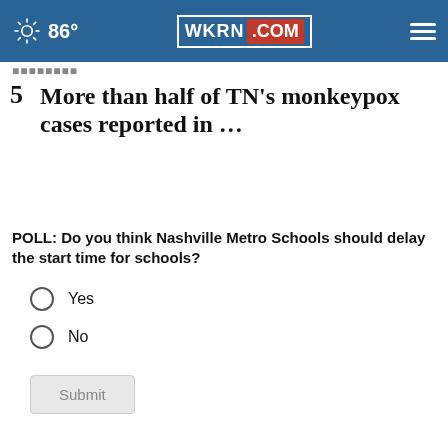86° WKRN.COM
5  More than half of TN's monkeypox cases reported in …
POLL: Do you think Nashville Metro Schools should delay the start time for schools?
Yes
No
Submit